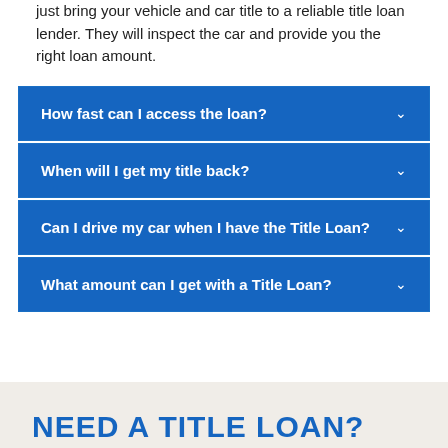just bring your vehicle and car title to a reliable title loan lender. They will inspect the car and provide you the right loan amount.
How fast can I access the loan?
When will I get my title back?
Can I drive my car when I have the Title Loan?
What amount can I get with a Title Loan?
NEED A TITLE LOAN?